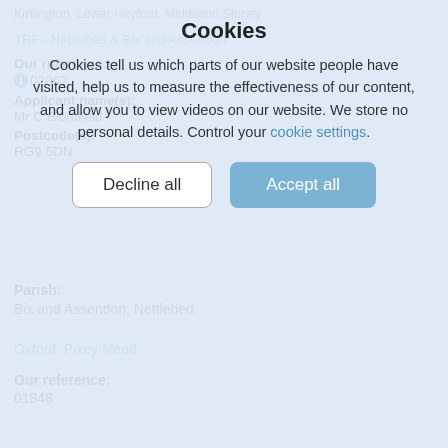Kirtlington, Lower Heyford, Middleton Stoney
TRF - Nettlebed & Bix and Assendon
Our reference:
02062
Applicant name(s):
Mr C Blomfield
Postcode(s):
RG9 5DN
[Figure (screenshot): Cookie consent overlay dialog with title 'Cookies', descriptive text about cookie usage, and two buttons: 'Decline all' and 'Accept all']
Parish:
Bix and Assendon, Nettlebed
Oxford, Pixey Mead
Our reference:
01848